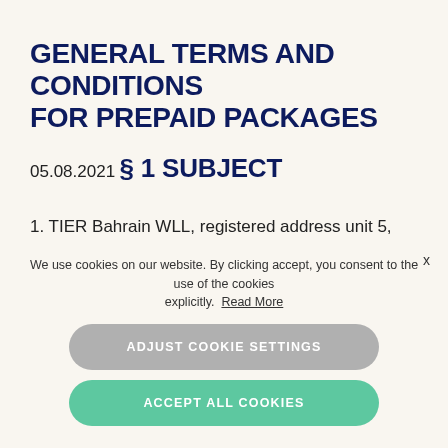GENERAL TERMS AND CONDITIONS FOR PREPAID PACKAGES
05.08.2021
§ 1 SUBJECT
1. TIER Bahrain WLL, registered address unit 5,
We use cookies on our website. By clicking accept, you consent to the use of the cookies explicitly. Read More
ADJUST COOKIE SETTINGS
ACCEPT ALL COOKIES